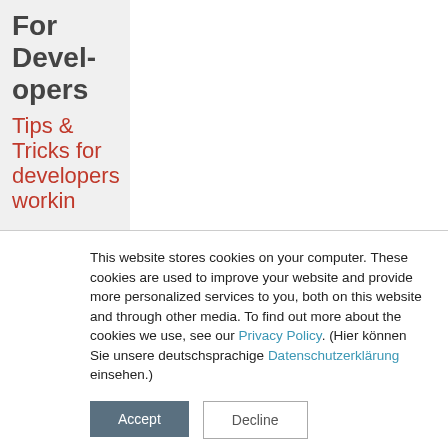For Developers
Tips & Tricks for developers workin
This website stores cookies on your computer. These cookies are used to improve your website and provide more personalized services to you, both on this website and through other media. To find out more about the cookies we use, see our Privacy Policy. (Hier können Sie unsere deutschsprachige Datenschutzerklärung einsehen.)
Accept | Decline